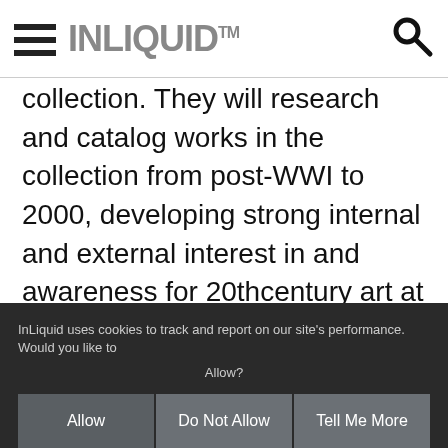INLIQUID™
collection. They will research and catalog works in the collection from post-WWI to 2000, developing strong internal and external interest in and awareness for 20thcentury art at PAFA. They will prepare and present public lectures, gallery talks and tours as applicable, cultivating interest and gifts from collectors of 20th century American art. They will also work closely with curatorial colleagues to enhance PAFA's national reputation as a leader in American art. This position will work with the public
InLiquid uses cookies to track and report on our site's performance. Would you like to Allow?
Allow
Do Not Allow
Tell Me More